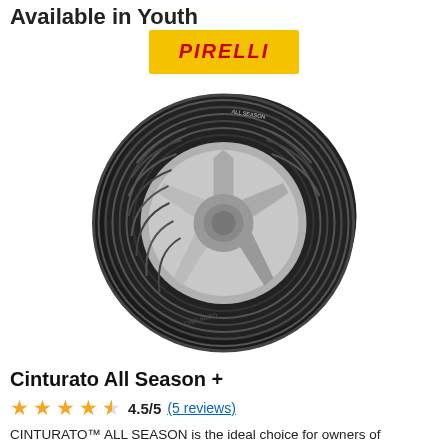Available in Youth
[Figure (logo): Pirelli logo — yellow background with red italic bold text PIRELLI]
[Figure (photo): Pirelli Cinturato All Season+ tire product photo showing a black tire with silver alloy wheel, tread pattern visible, at a slight angle]
Cinturato All Season +
4.5/5 (5 reviews)
CINTURATO™ ALL SEASON is the ideal choice for owners of